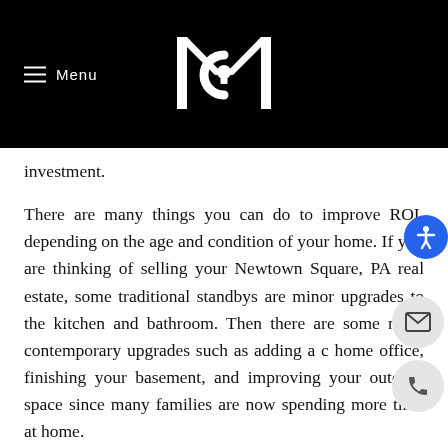[Figure (logo): MCM logo with stylized M and C letters with a keyhole icon, white on black background]
Menu
investment.
There are many things you can do to improve ROI, depending on the age and condition of your home. If you are thinking of selling your Newtown Square, PA real estate, some traditional standbys are minor upgrades to the kitchen and bathroom. Then there are some more contemporary upgrades such as adding a dedicated home office, finishing your basement, and improving your outdoor space since many families are now spending more time at home.